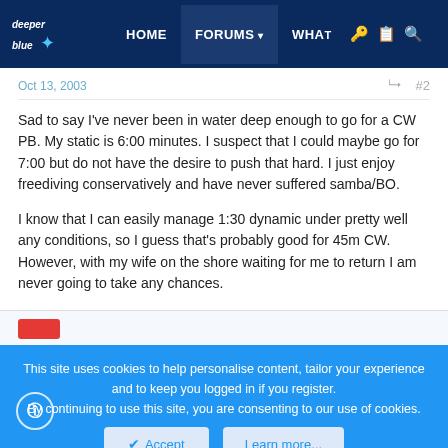deeper blue | HOME | FORUMS | WHAT
Oct 13, 2003   #2
Sad to say I've never been in water deep enough to go for a CW PB. My static is 6:00 minutes. I suspect that I could maybe go for 7:00 but do not have the desire to push that hard. I just enjoy freediving conservatively and have never suffered samba/BO.

I know that I can easily manage 1:30 dynamic under pretty well any conditions, so I guess that's probably good for 45m CW. However, with my wife on the shore waiting for me to return I am never going to take any chances.
This site uses cookies to help personalise content, tailor your experience and to keep you logged in if you register.
By continuing to use this site, you are consenting to our use of cookies.
Accept   Learn more...